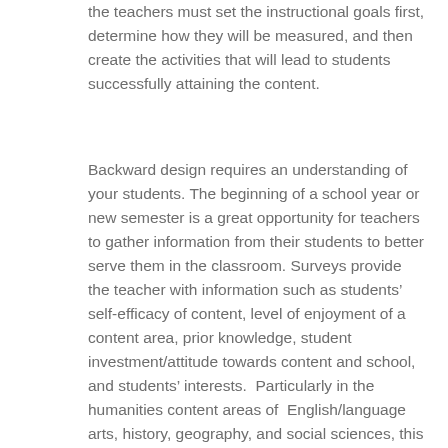the teachers must set the instructional goals first, determine how they will be measured, and then create the activities that will lead to students successfully attaining the content.
Backward design requires an understanding of your students. The beginning of a school year or new semester is a great opportunity for teachers to gather information from their students to better serve them in the classroom. Surveys provide the teacher with information such as students' self-efficacy of content, level of enjoyment of a content area, prior knowledge, student investment/attitude towards content and school, and students' interests.  Particularly in the humanities content areas of  English/language arts, history, geography, and social sciences, this information helps teachers develop lessons that increase student engagement and confidence with content.